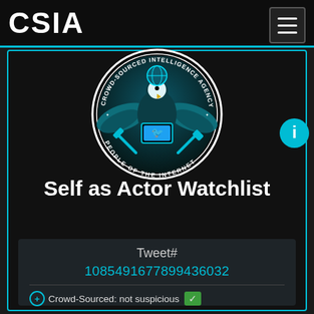CSIA
[Figure (logo): CSIA Crowd-Sourced Intelligence Agency seal — eagle with Twitter bird emblem, circuit board background, text reading CROWD-SOURCED INTELLIGENCE AGENCY and PEOPLE OF THE INTERNET]
Self as Actor Watchlist
Tweet#
1085491677899436032
Crowd-Sourced: not suspicious
User name: Srećko Horvat
Handle: HorvatSrecko
Followers: 7325